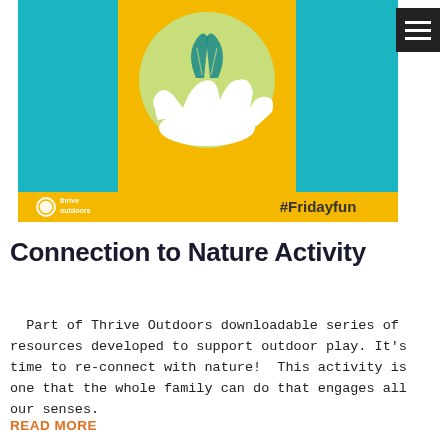[Figure (illustration): Thrive Outdoors branded graphic showing a hand holding leaves/plant on a yellow and teal background, with 'Connection to nature' text and '#Fridayfun' hashtag with Thrive Outdoors logo at the bottom.]
Connection to Nature Activity
Part of Thrive Outdoors downloadable series of resources developed to support outdoor play. It's time to re-connect with nature!  This activity is one that the whole family can do that engages all our senses.
READ MORE